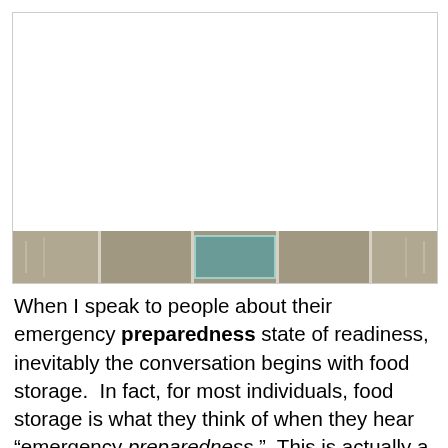[Figure (photo): A photo showing what appears to be a room or indoor scene, mostly white/light with a decorative horizontal strip at the bottom featuring a teal/green central element flanked by tan/beige panels with vertical striped details.]
When I speak to people about their emergency preparedness state of readiness, inevitably the conversation begins with food storage.  In fact, for most individuals, food storage is what they think of when they hear “emergency preparedness.”  This is actually a bit of a problem, because food storage is only one aspect out of my Ten Areas of Readiness, and...